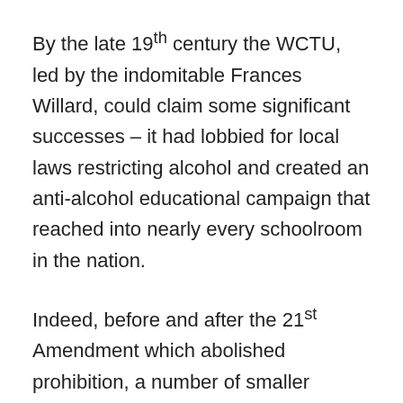By the late 19th century the WCTU, led by the indomitable Frances Willard, could claim some significant successes – it had lobbied for local laws restricting alcohol and created an anti-alcohol educational campaign that reached into nearly every schoolroom in the nation.
Indeed, before and after the 21st Amendment which abolished prohibition, a number of smaller jurisdictions such as cities, towns, and townships existed and still exist in America which prohibit the sale of alcoholic beverages. These are known as dry counties, dry cities, dry towns, or dry townships and they are mainly